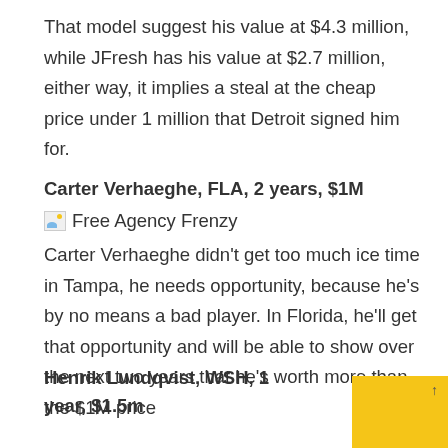That model suggest his value at $4.3 million, while JFresh has his value at $2.7 million, either way, it implies a steal at the cheap price under 1 million that Detroit signed him for.
Carter Verhaeghe, FLA, 2 years, $1M
[Figure (illustration): Broken image placeholder labeled 'Free Agency Frenzy']
Carter Verhaeghe didn't get too much ice time in Tampa, he needs opportunity, because he's by no means a bad player. In Florida, he'll get that opportunity and will be able to show over the next two years that he's worth more than the $1M price
Henrik Lundqvist, WSH, 1 year, $1.5m